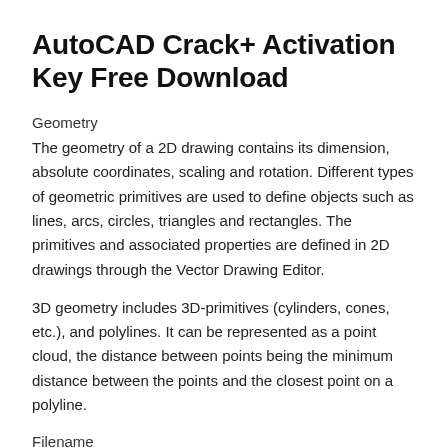AutoCAD Crack+ Activation Key Free Download
Geometry
The geometry of a 2D drawing contains its dimension, absolute coordinates, scaling and rotation. Different types of geometric primitives are used to define objects such as lines, arcs, circles, triangles and rectangles. The primitives and associated properties are defined in 2D drawings through the Vector Drawing Editor.
3D geometry includes 3D-primitives (cylinders, cones, etc.), and polylines. It can be represented as a point cloud, the distance between points being the minimum distance between the points and the closest point on a polyline.
Filename